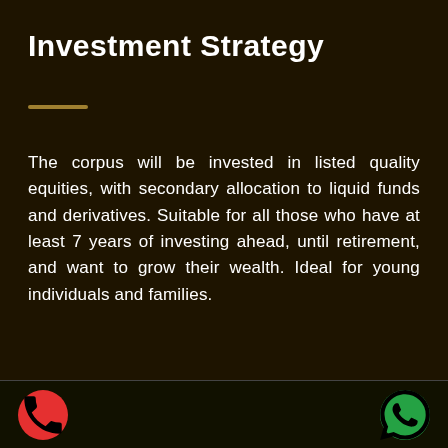Investment Strategy
The corpus will be invested in listed quality equities, with secondary allocation to liquid funds and derivatives. Suitable for all those who have at least 7 years of investing ahead, until retirement, and want to grow their wealth. Ideal for young individuals and families.
Recommended investment horizon: 5 Years +
[Figure (illustration): Red phone call button (circle) on the left and green WhatsApp button (circle) on the right in a dark bottom bar]